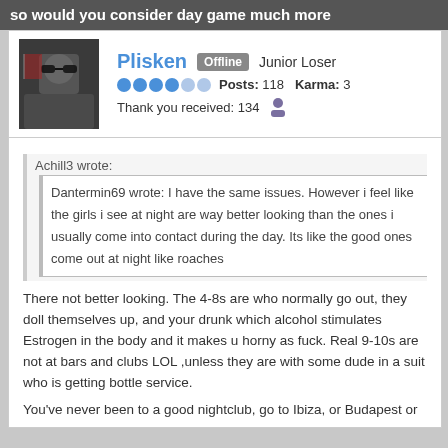so would you consider day game much more
[Figure (photo): User avatar photo showing a person wearing sunglasses]
Plisken   Offline   Junior Loser
Posts: 118   Karma: 3
Thank you received: 134
Achill3 wrote:
Dantermin69 wrote: I have the same issues. However i feel like the girls i see at night are way better looking than the ones i usually come into contact during the day. Its like the good ones come out at night like roaches
There not better looking. The 4-8s are who normally go out, they doll themselves up, and your drunk which alcohol stimulates Estrogen in the body and it makes u horny as fuck. Real 9-10s are not at bars and clubs LOL ,unless they are with some dude in a suit who is getting bottle service.
You've never been to a good nightclub, go to Ibiza, or Budapest or